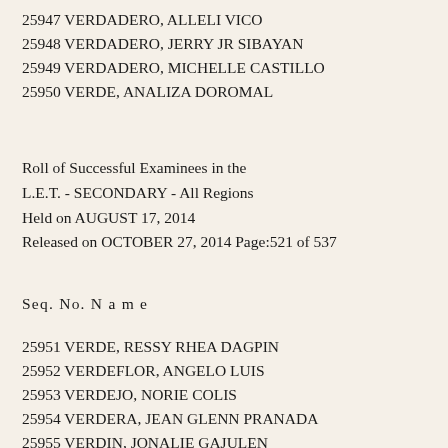25947 VERDADERO, ALLELI VICO
25948 VERDADERO, JERRY JR SIBAYAN
25949 VERDADERO, MICHELLE CASTILLO
25950 VERDE, ANALIZA DOROMAL
Roll of Successful Examinees in the
L.E.T. - SECONDARY - All Regions
Held on AUGUST 17, 2014
Released on OCTOBER 27, 2014 Page:521 of 537
Seq. No. N a m e
25951 VERDE, RESSY RHEA DAGPIN
25952 VERDEFLOR, ANGELO LUIS
25953 VERDEJO, NORIE COLIS
25954 VERDERA, JEAN GLENN PRANADA
25955 VERDIN, JONALIE GAJULEN
25956 VEREZ, JOHN DION BRILLANTE
25957 VERGACER, RIAH LOU ENCALLADO
25958 VERGARO, EMSON JAN ASTABAR